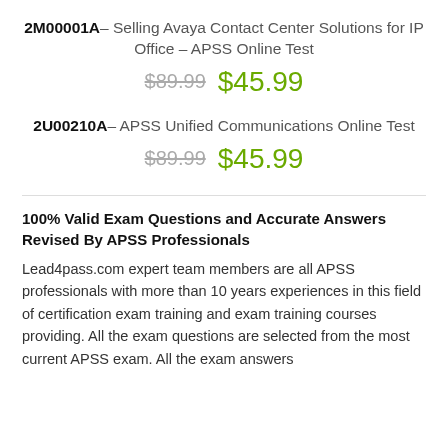2M00001A – Selling Avaya Contact Center Solutions for IP Office – APSS Online Test
$89.99  $45.99
2U00210A – APSS Unified Communications Online Test
$89.99  $45.99
100% Valid Exam Questions and Accurate Answers Revised By APSS Professionals
Lead4pass.com expert team members are all APSS professionals with more than 10 years experiences in this field of certification exam training and exam training courses providing. All the exam questions are selected from the most current APSS exam. All the exam answers